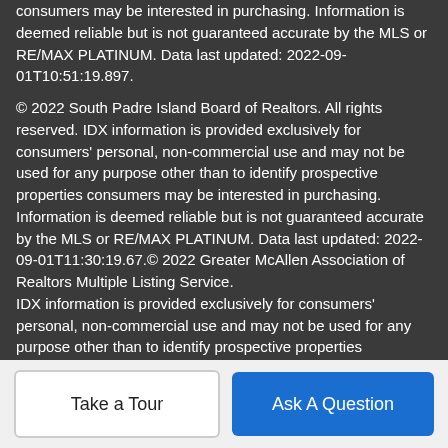consumers may be interested in purchasing. Information is deemed reliable but is not guaranteed accurate by the MLS or RE/MAX PLATINUM. Data last updated: 2022-09-01T10:51:19.897.
© 2022 South Padre Island Board of Realtors. All rights reserved. IDX information is provided exclusively for consumers' personal, non-commercial use and may not be used for any purpose other than to identify prospective properties consumers may be interested in purchasing. Information is deemed reliable but is not guaranteed accurate by the MLS or RE/MAX PLATINUM. Data last updated: 2022-09-01T11:30:19.67.© 2022 Greater McAllen Association of Realtors Multiple Listing Service. IDX information is provided exclusively for consumers' personal, non-commercial use and may not be used for any purpose other than to identify prospective properties consumers may be interested in purchasing. Data is deemed reliable but is not guaranteed accurate by the MLS or RE/MAX PLATINUM. Data last updated: 2022-09-01T11:10:59.273.
Take a Tour
Ask A Question